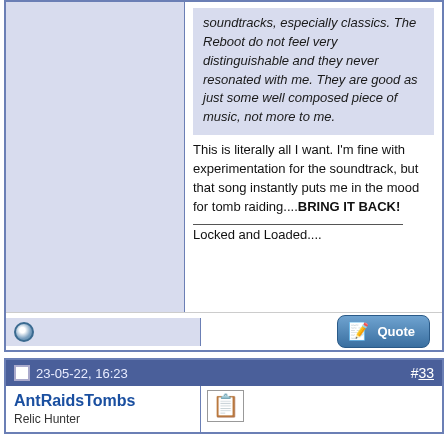soundtracks, especially classics. The Reboot do not feel very distinguishable and they never resonated with me. They are good as just some well composed piece of music, not more to me.
This is literally all I want. I'm fine with experimentation for the soundtrack, but that song instantly puts me in the mood for tomb raiding....BRING IT BACK!
Locked and Loaded....
23-05-22, 16:23  #33
AntRaidsTombs
Relic Hunter